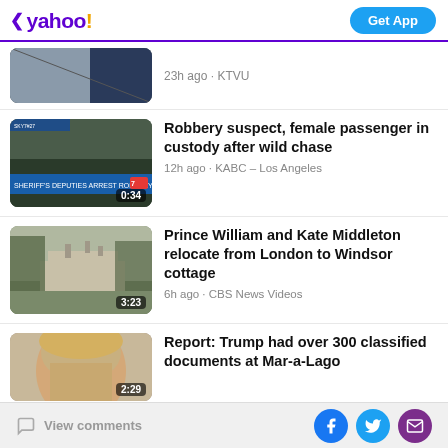yahoo! Get App
23h ago · KTVU
[Figure (screenshot): Video thumbnail showing aerial view, partially cropped at top]
[Figure (screenshot): Video thumbnail showing robbery arrest scene with text overlay '0:34']
Robbery suspect, female passenger in custody after wild chase
12h ago · KABC – Los Angeles
[Figure (screenshot): Video thumbnail showing a large manor house with bare trees, duration '3:23']
Prince William and Kate Middleton relocate from London to Windsor cottage
6h ago · CBS News Videos
[Figure (screenshot): Video thumbnail showing a man's face (partially cropped), duration '2:29']
Report: Trump had over 300 classified documents at Mar-a-Lago
View comments